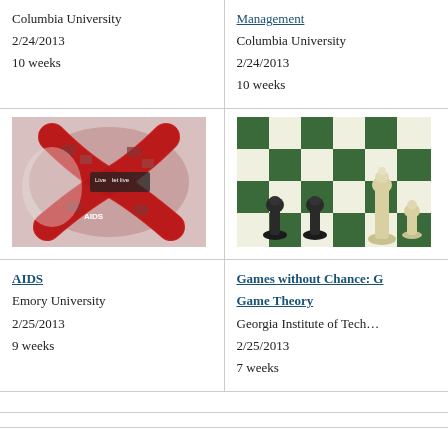Columbia University
2/24/2013
10 weeks
Management
Columbia University
2/24/2013
10 weeks
[Figure (photo): Red AIDS awareness ribbon made of collage photos with text 'Live and let live' and 'AIDS']
[Figure (photo): Chess pieces on a green and white checkered chessboard]
AIDS
Emory University
2/25/2013
9 weeks
Games without Chance: Game Theory
Georgia Institute of Technology
2/25/2013
7 weeks